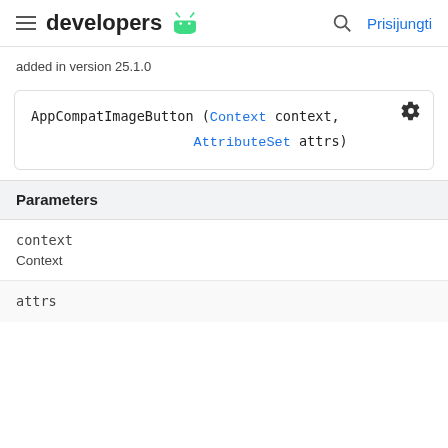developers [android logo] | search | Prisijungti
added in version 25.1.0
AppCompatImageButton (Context context,
                    AttributeSet attrs)
Parameters
context
Context
attrs